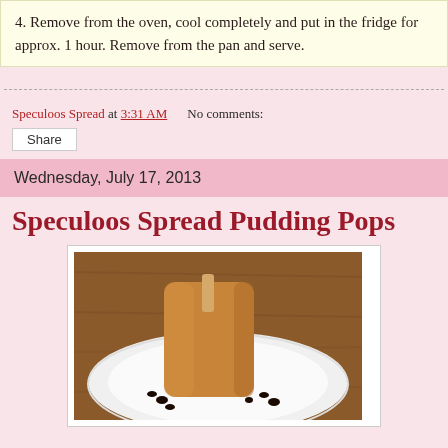4. Remove from the oven, cool completely and put in the fridge for approx. 1 hour. Remove from the pan and serve.
Speculoos Spread at 3:31 AM   No comments:
Share
Wednesday, July 17, 2013
Speculoos Spread Pudding Pops
[Figure (photo): A caramel-colored pudding pop on a stick, served on a white plate with dark chocolate chips, on a wooden background.]